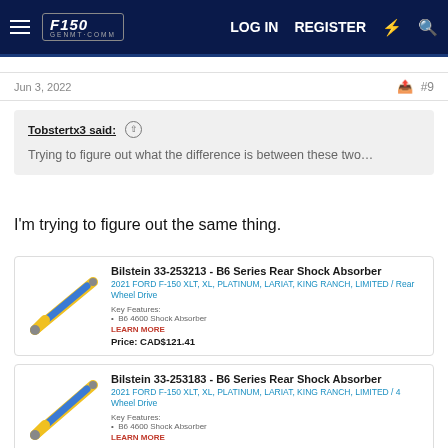F150Forum.com — LOG IN  REGISTER
Jun 3, 2022  #9
Tobstertx3 said: ↑
Trying to figure out what the difference is between these two…
I'm trying to figure out the same thing.
[Figure (photo): Bilstein 33-253213 B6 Series Rear Shock Absorber product listing card. Shows shock absorber image (blue and yellow). Fitment: 2021 FORD F-150 XLT, XL, PLATINUM, LARIAT, KING RANCH, LIMITED / Rear Wheel Drive. Key Features: B6 4600 Shock Absorber. LEARN MORE link. Price: CAD$121.41]
[Figure (photo): Bilstein 33-253183 B6 Series Rear Shock Absorber product listing card. Shows shock absorber image (blue and yellow). Fitment: 2021 FORD F-150 XLT, XL, PLATINUM, LARIAT, KING RANCH, LIMITED / 4 Wheel Drive. Key Features: B6 4600 Shock Absorber. LEARN MORE link.]